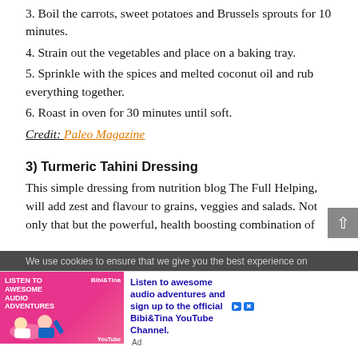3. Boil the carrots, sweet potatoes and Brussels sprouts for 10 minutes.
4. Strain out the vegetables and place on a baking tray.
5. Sprinkle with the spices and melted coconut oil and rub everything together.
6. Roast in oven for 30 minutes until soft.
Credit: Paleo Magazine
3) Turmeric Tahini Dressing
This simple dressing from nutrition blog The Full Helping, will add zest and flavour to grains, veggies and salads. Not only that but the powerful, health boosting combination of
We use cookies to ensure that we give you the best experience on
[Figure (screenshot): Advertisement banner for Bibi&Tina audio adventures YouTube channel with pink illustrated image on left and blue text on right.]